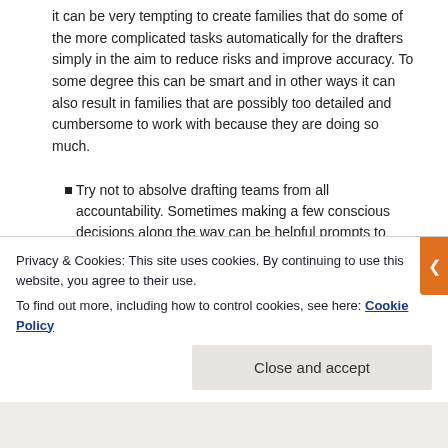it can be very tempting to create families that do some of the more complicated tasks automatically for the drafters simply in the aim to reduce risks and improve accuracy. To some degree this can be smart and in other ways it can also result in families that are possibly too detailed and cumbersome to work with because they are doing so much.
Try not to absolve drafting teams from all accountability. Sometimes making a few conscious decisions along the way can be helpful prompts to assist drafting teams to make informed design decisions.
Whilst highly detailed Revit families can be used to overcome shortcomings in staff knowledge I would
Privacy & Cookies: This site uses cookies. By continuing to use this website, you agree to their use.
To find out more, including how to control cookies, see here: Cookie Policy